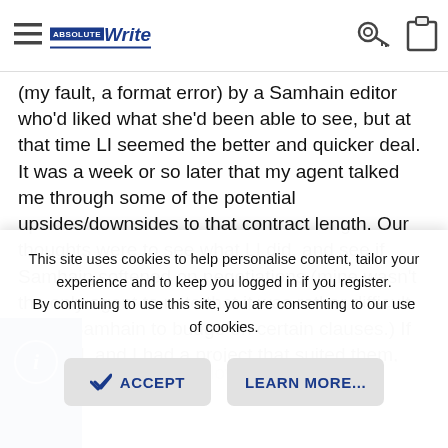AbsoluteWrite navigation bar with hamburger menu, logo, key icon and clipboard icon
(my fault, a format error) by a Samhain editor who'd liked what she'd been able to see, but at that time LI seemed the better and quicker deal. It was a week or so later that my agent talked me through some of the potential upsides/downsides to that contract length. Our thoughts were to see what LI did, and see if Samhain softened on negotiations (mine wasn't the only agent to note that it was rather difficult to get Samhain to budge on certain clauses.) If they did, and I had a project that suited them, we'd look at the issue again. They never budged that I could see, and my work was going a different direction...so that second sub never happened. Then Don got booted out and some other stuff happened, and I started getting a bit nervous about the company's trajectory.
This site uses cookies to help personalise content, tailor your experience and to keep you logged in if you register. By continuing to use this site, you are consenting to our use of cookies.
ACCEPT
LEARN MORE...